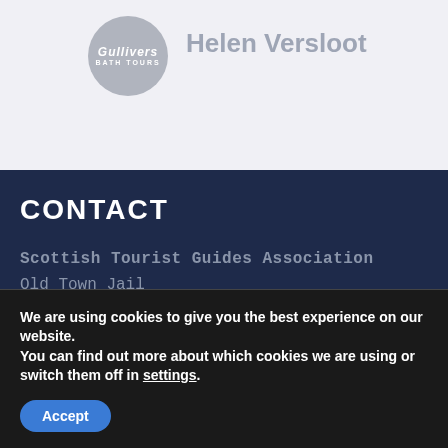[Figure (logo): Circular avatar with Gullivers logo in grey/silver tones]
Helen Versloot
CONTACT
Scottish Tourist Guides Association
Old Town Jail
St John Street
We are using cookies to give you the best experience on our website.
You can find out more about which cookies we are using or switch them off in settings.
Accept